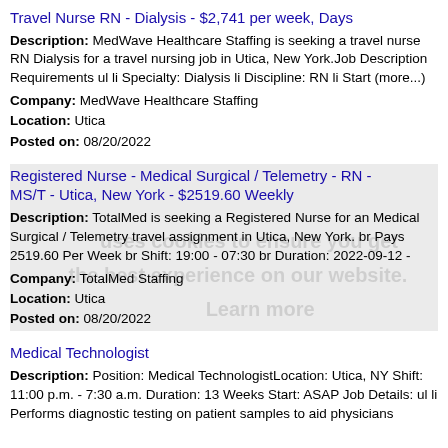Travel Nurse RN - Dialysis - $2,741 per week, Days
Description: MedWave Healthcare Staffing is seeking a travel nurse RN Dialysis for a travel nursing job in Utica, New York.Job Description Requirements ul li Specialty: Dialysis li Discipline: RN li Start (more...)
Company: MedWave Healthcare Staffing
Location: Utica
Posted on: 08/20/2022
Registered Nurse - Medical Surgical / Telemetry - RN - MS/T - Utica, New York - $2519.60 Weekly
Description: TotalMed is seeking a Registered Nurse for an Medical Surgical / Telemetry travel assignment in Utica, New York. br Pays 2519.60 Per Week br Shift: 19:00 - 07:30 br Duration: 2022-09-12 -
Company: TotalMed Staffing
Location: Utica
Posted on: 08/20/2022
Medical Technologist
Description: Position: Medical TechnologistLocation: Utica, NY Shift: 11:00 p.m. - 7:30 a.m. Duration: 13 Weeks Start: ASAP Job Details: ul li Performs diagnostic testing on patient samples to aid physicians